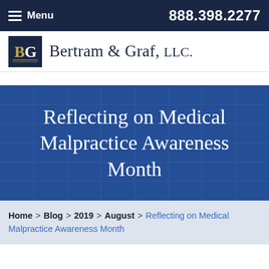Menu   888.398.2277
[Figure (logo): Bertram & Graf, LLC. logo with BG monogram in dark navy square and serif firm name text]
Reflecting on Medical Malpractice Awareness Month
Home > Blog > 2019 > August > Reflecting on Medical Malpractice Awareness Month